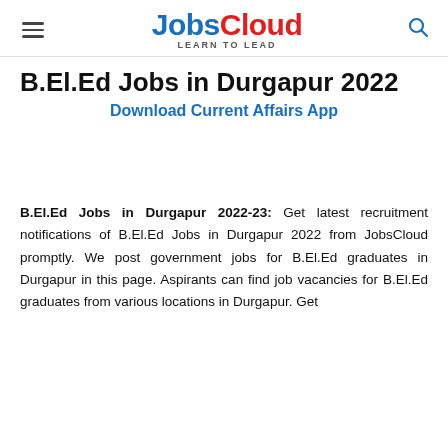JobsCloud LEARN TO LEAD
B.El.Ed Jobs in Durgapur 2022
Download Current Affairs App
B.El.Ed Jobs in Durgapur 2022-23: Get latest recruitment notifications of B.El.Ed Jobs in Durgapur 2022 from JobsCloud promptly. We post government jobs for B.El.Ed graduates in Durgapur in this page. Aspirants can find job vacancies for B.El.Ed graduates from various locations in Durgapur. Get